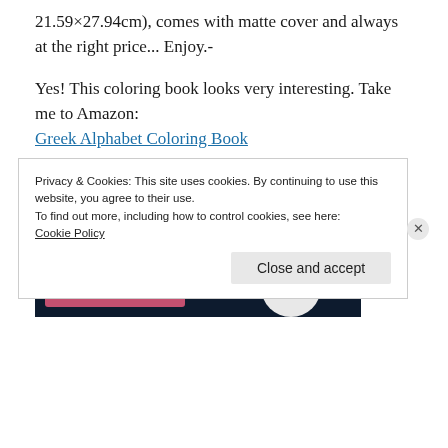21.59×27.94cm), comes with matte cover and always at the right price... Enjoy.-
Yes! This coloring book looks very interesting. Take me to Amazon:
Greek Alphabet Coloring Book
[Figure (illustration): Dark navy banner image with bold white text reading 'We all have them!' and a pink bar and white circle at the bottom.]
Privacy & Cookies: This site uses cookies. By continuing to use this website, you agree to their use.
To find out more, including how to control cookies, see here:
Cookie Policy
Close and accept